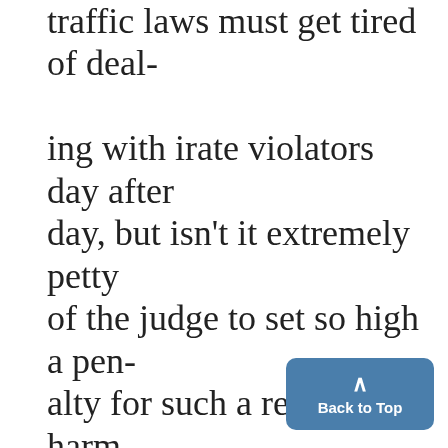traffic laws must get tired of dealing with irate violators day after day, but isn't it extremely petty of the judge to set so high a penalty for such a relatively harmless reaction to the frustration of a traffic ticket as the use of common expletive? Would physical violence be preferred to more verbal release? In any case, I hope I will have enough presence of mind to limit myself to remarks such as "Cut
[Figure (other): Blue 'Back to Top' button with upward arrow chevron in bottom-right corner]